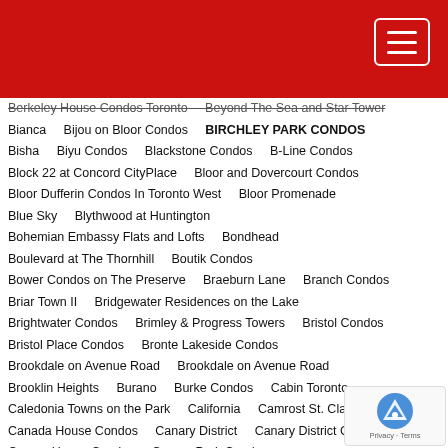Red navigation header with hamburger menu
Berkeley House Condos Toronto
Beyond The Sea and Star Tower
Bianca
Bijou on Bloor Condos
BIRCHLEY PARK CONDOS
Bisha
Biyu Condos
Blackstone Condos
B-Line Condos
Block 22 at Concord CityPlace
Bloor and Dovercourt Condos
Bloor Dufferin Condos In Toronto West
Bloor Promenade
Blue Sky
Blythwood at Huntington
Bohemian Embassy Flats and Lofts
Bondhead
Boulevard at The Thornhill
Boutik Condos
Bower Condos on The Preserve
Braeburn Lane
Branch Condos
Briar Town II
Bridgewater Residences on the Lake
Brightwater Condos
Brimley & Progress Towers
Bristol Condos
Bristol Place Condos
Bronte Lakeside Condos
Brookdale on Avenue Road
Brookdale on Avenue Road
Brooklin Heights
Burano
Burke Condos
Cabin Toronto
Caledonia Towns on the Park
California
Camrost St. Clair
Canada House Condos
Canary District
Canary District Condos
Canary House Condos
Canary Park Condos
Canopy Towers condos
Canterbury Lawrence Park
Canvas Condominium
Carmelina
Carriage Ridge at Carriage Country Club
Casa II
Casa III
Castlefield Design District Condos
Celeste Condos
Celsius Condos
Central Condos
Central District Towns
Central park condos
Centre Park
Centrium